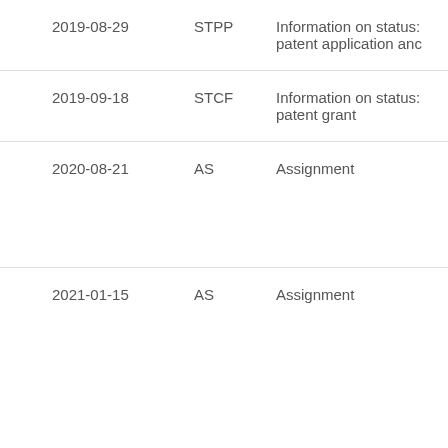| 2019-08-29 | STPP | Information on status: patent application anc |
| 2019-09-18 | STCF | Information on status: patent grant |
| 2020-08-21 | AS | Assignment |
| 2021-01-15 | AS | Assignment |